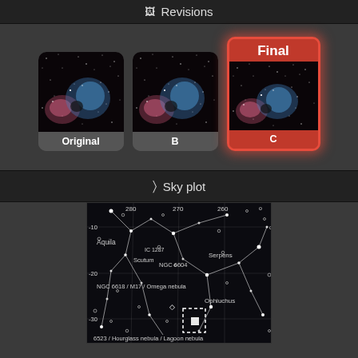Revisions
[Figure (screenshot): Three revision thumbnails of a nebula image: Original, B, and C (marked as Final with red highlight border). Each shows a colorful nebula with pink and blue gas clouds against a star field.]
Sky plot
[Figure (map): Star chart / sky plot showing constellations and deep sky objects including: Aquila, Scutum, IC 1287, NGC 6604, Serpens, NGC 6618 / M17 / Omega nebula, Ophiuchus, 6523 / Hourglass nebula / Lagoon nebula. Coordinate lines at RA 280, 270, 260 and Dec -10, -20, -30. A white dashed rectangle marks the target field.]